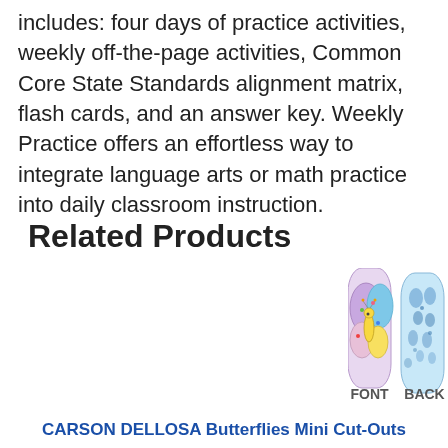includes: four days of practice activities, weekly off-the-page activities, Common Core State Standards alignment matrix, flash cards, and an answer key. Weekly Practice offers an effortless way to integrate language arts or math practice into daily classroom instruction.
Related Products
[Figure (photo): Two butterfly cut-out images side by side — front showing a colorful cartoon butterfly with purple wings and a yellow body, back showing a light blue silhouette pattern of butterflies. Labels below read FRONT and BACK.]
FRONT    BACK
CARSON DELLOSA Butterflies Mini Cut-Outs